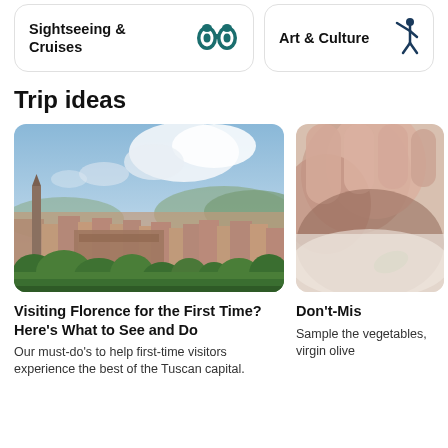Sightseeing & Cruises
Art & Culture
Trip ideas
[Figure (photo): Aerial/panoramic view of Florence (Firenze), Italy, showing the city skyline with terracotta rooftops, green trees in foreground, hills in background, and a partly cloudy blue sky.]
Visiting Florence for the First Time? Here's What to See and Do
Our must-do's to help first-time visitors experience the best of the Tuscan capital.
[Figure (photo): Close-up photo of hands holding or examining something, partially visible at right edge of the page.]
Don't-Mis
Sample the vegetables, virgin olive